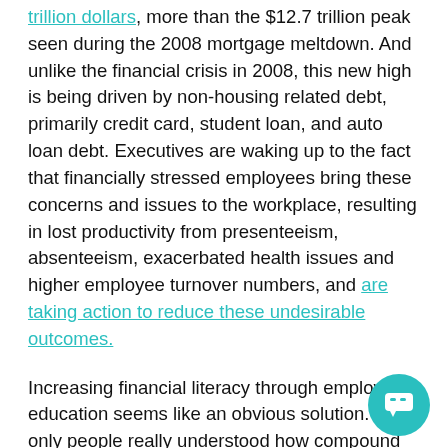trillion dollars, more than the $12.7 trillion peak seen during the 2008 mortgage meltdown. And unlike the financial crisis in 2008, this new high is being driven by non-housing related debt, primarily credit card, student loan, and auto loan debt. Executives are waking up to the fact that financially stressed employees bring these concerns and issues to the workplace, resulting in lost productivity from presenteeism, absenteeism, exacerbated health issues and higher employee turnover numbers, and are taking action to reduce these undesirable outcomes.
Increasing financial literacy through employee education seems like an obvious solution. If only people really understood how compound interest works, or had more information about how to make good financial decisions, then surely they could avoid getting a bad credit score, paying high interest rates on consumer